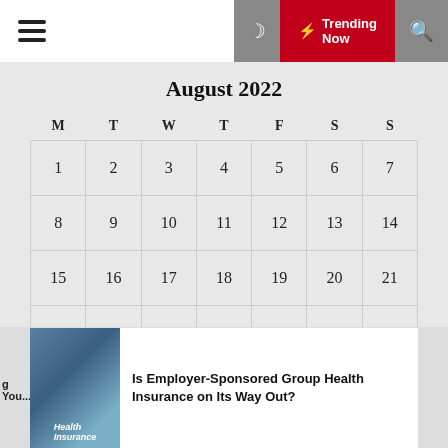☰  ☾  ⚡ Trending Now  🔍
August 2022
| M | T | W | T | F | S | S |
| --- | --- | --- | --- | --- | --- | --- |
| 1 | 2 | 3 | 4 | 5 | 6 | 7 |
| 8 | 9 | 10 | 11 | 12 | 13 | 14 |
| 15 | 16 | 17 | 18 | 19 | 20 | 21 |
| 22 | 23 | 24 | 25 | 26 | 27 | 28 |
| 29 | 30 | 31 |  |  |  |  |
« Feb
g You...
[Figure (photo): Health Insurance card and stethoscope]
Is Employer-Sponsored Group Health Insurance on Its Way Out?